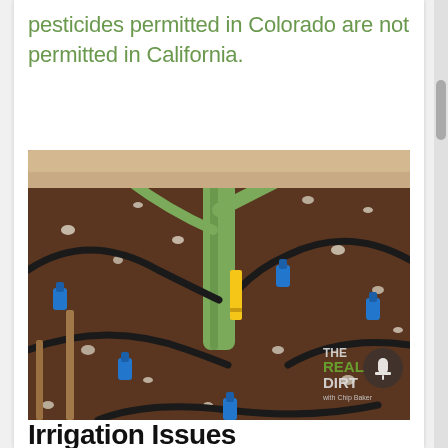pesticides permitted in Colorado are not permitted in California.
[Figure (photo): Close-up photo of a potted plant with drip irrigation system. Black tubing winds around the base of a plant stem in a large pot filled with dark soil and perlite. Blue drip emitters are inserted into the soil at various points. A yellow tag stake is visible near the stem. A watermark logo reads 'THE REAL DIRT with Chip Baker' in the lower right corner.]
Irrigation Issues